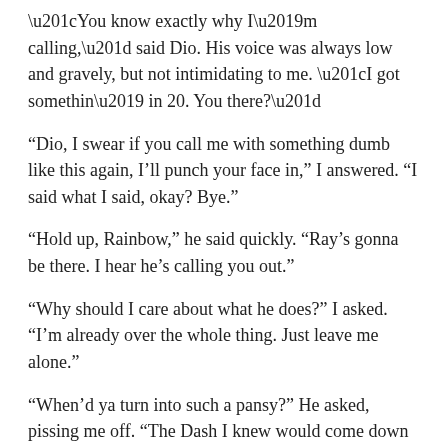“You know exactly why I’m calling,” said Dio. His voice was always low and gravely, but not intimidating to me. “I got somethin’ in 20. You there?”
“Dio, I swear if you call me with something dumb like this again, I’ll punch your face in,” I answered. “I said what I said, okay? Bye.”
“Hold up, Rainbow,” he said quickly. “Ray’s gonna be there. I hear he’s calling you out.”
“Why should I care about what he does?” I asked. “I’m already over the whole thing. Just leave me alone.”
“When’d ya turn into such a pansy?” He asked, pissing me off. “The Dash I knew would come down here and kick some ass.”